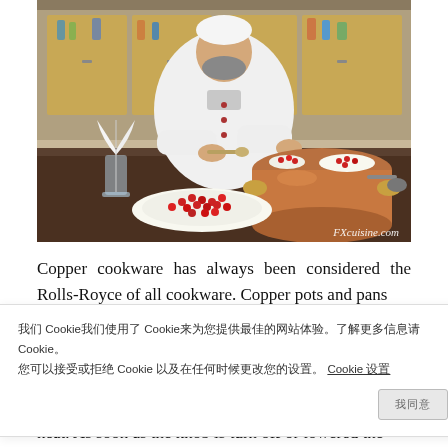[Figure (photo): A chef in white uniform sits behind a dark wooden table with a large copper pot, a plate of red currants, a small dish of red currants, and a glass with a white feather. Background shows shelving units.]
FXcuisine.com
Copper cookware has always been considered the Rolls-Royce of all cookware. Copper pots and pans
我们 Cookie我们使用了 Cookie来为您提供最佳的网站体验。了解更多信息请 Cookie。 您可以接受或拒绝 Cookie 以及在任何时候更改您的设置。 Cookie 设置
heat. As soon as the knob is turn off or lowered the